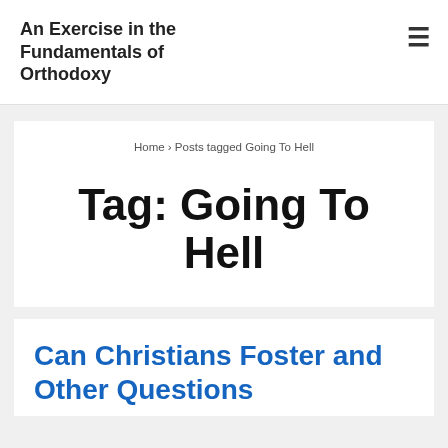An Exercise in the Fundamentals of Orthodoxy
Home › Posts tagged Going To Hell
Tag: Going To Hell
Can Christians Foster and Other Questions